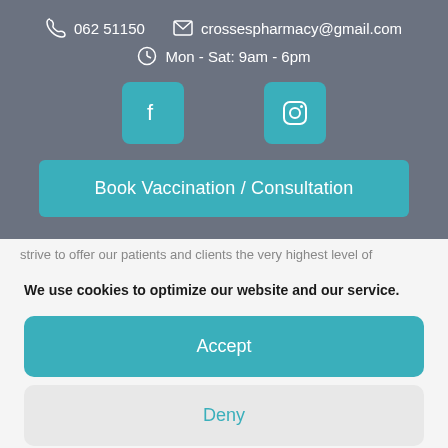062 51150   crossespharmacy@gmail.com
Mon - Sat: 9am - 6pm
[Figure (screenshot): Facebook and Instagram social media icon buttons in teal/cyan color]
Book Vaccination / Consultation
strive to offer our patients and clients the very highest level of
We use cookies to optimize our website and our service.
Accept
Deny
Cookie Policy